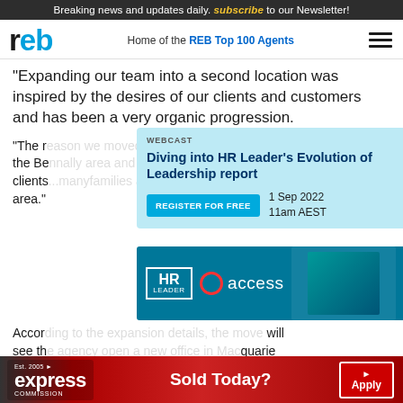Breaking news and updates daily. subscribe to our Newsletter!
Home of the REB Top 100 Agents
“Expanding our team into a second location was inspired by the desires of our clients and customers and has been a very organic progression.
[Figure (infographic): Webcast advertisement: Diving into HR Leader's Evolution of Leadership report. Register for Free. 1 Sep 2022 11am AEST.]
“The re[ason we moved]... into the Be[nna]... w clients[...]... n the area.”
[Figure (infographic): HR Leader access advertisement with blue background and people smiling]
Accor[ding to...]... will see th[e expansion to Mac]quarie be the[...]... real estate service in the area.
The ultimate goal? To increase the value to their clients[...] ds.
[Figure (infographic): Express Commission advertisement. Est. 2005. Sold Today? Apply button.]